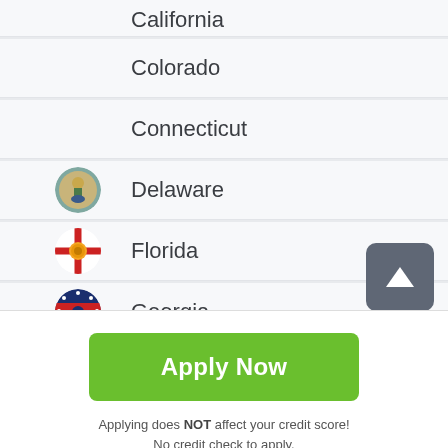California
Colorado
Connecticut
Delaware
Florida
Georgia
Apply Now
Applying does NOT affect your credit score! No credit check to apply.